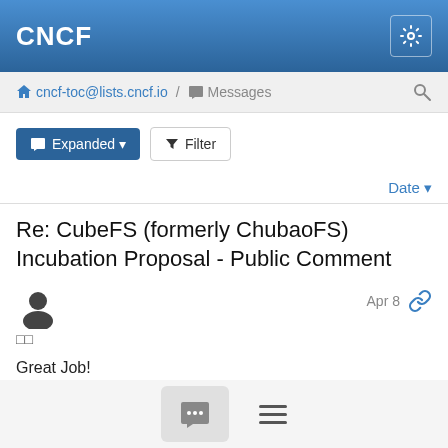CNCF
cncf-toc@lists.cncf.io / Messages
Expanded  Filter
Date ▾
Re: CubeFS (formerly ChubaoFS) Incubation Proposal - Public Comment
□□   Apr 8
Great Job!